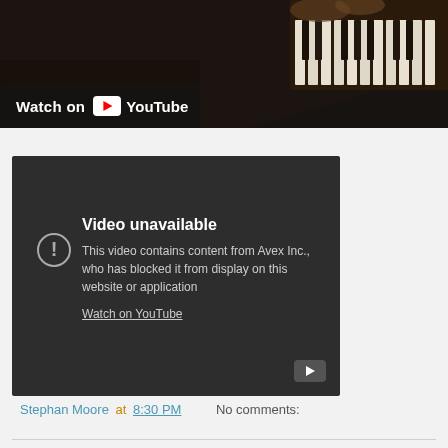[Figure (screenshot): YouTube video thumbnail showing a piano being played, with 'Watch on YouTube' overlay bar at bottom left]
[Figure (screenshot): YouTube embedded video player showing 'Video unavailable' error message stating 'This video contains content from Avex Inc., who has blocked it from display on this website or application' with a 'Watch on YouTube' link]
Stephan Moore at 8:30 PM    No comments: